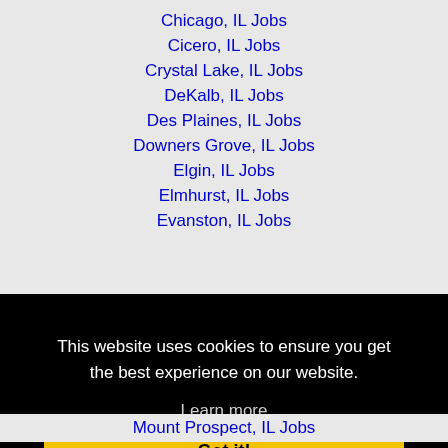Chicago, IL Jobs
Cicero, IL Jobs
Crystal Lake, IL Jobs
DeKalb, IL Jobs
Des Plaines, IL Jobs
Downers Grove, IL Jobs
Elgin, IL Jobs
Elmhurst, IL Jobs
Evanston, IL Jobs
This website uses cookies to ensure you get the best experience on our website.
Learn more
Got it!
Mount Prospect, IL Jobs